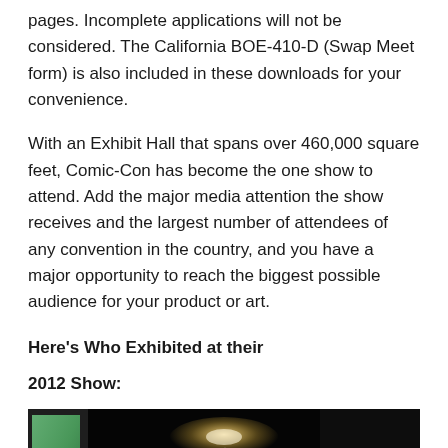pages. Incomplete applications will not be considered. The California BOE-410-D (Swap Meet form) is also included in these downloads for your convenience.
With an Exhibit Hall that spans over 460,000 square feet, Comic-Con has become the one show to attend. Add the major media attention the show receives and the largest number of attendees of any convention in the country, and you have a major opportunity to reach the biggest possible audience for your product or art.
Here’s Who Exhibited at their
2012 Show:
[Figure (photo): Dark exhibition hall photo showing a booth with green panel on the left and a crown/spiky shaped display object in the center against a dark background.]